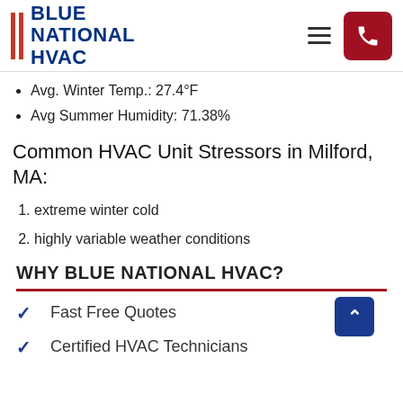[Figure (logo): Blue National HVAC logo with two red vertical bars and bold blue text]
Avg. Winter Temp.: 27.4°F
Avg Summer Humidity: 71.38%
Common HVAC Unit Stressors in Milford, MA:
extreme winter cold
highly variable weather conditions
WHY BLUE NATIONAL HVAC?
Fast Free Quotes
Certified HVAC Technicians